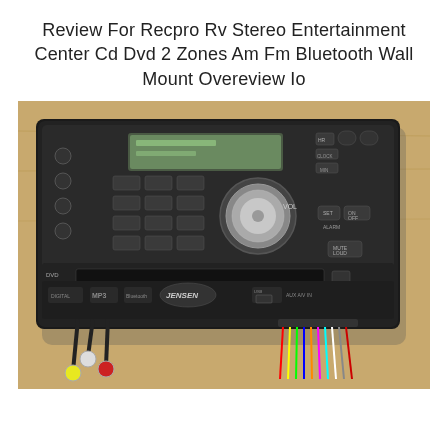Review For Recpro Rv Stereo Entertainment Center Cd Dvd 2 Zones Am Fm Bluetooth Wall Mount Overeview Io
[Figure (photo): Photo of a Jensen RV stereo entertainment center unit (black, rectangular) with CD/DVD slot, LCD display, volume knob, preset buttons, Bluetooth, MP3, alarm controls, and wiring harness/cables visible underneath on a wooden surface.]